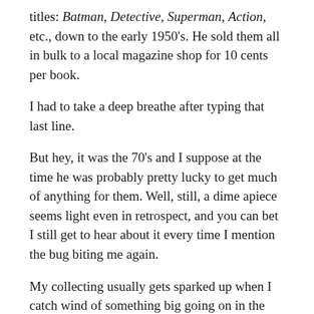titles: Batman, Detective, Superman, Action, etc., down to the early 1950's. He sold them all in bulk to a local magazine shop for 10 cents per book.
I had to take a deep breathe after typing that last line.
But hey, it was the 70's and I suppose at the time he was probably pretty lucky to get much of anything for them. Well, still, a dime apiece seems light even in retrospect, and you can bet I still get to hear about it every time I mention the bug biting me again.
My collecting usually gets sparked up when I catch wind of something big going on in the DC Universe. I believe most recently it was the return of Silver Age Flash that got me going. While I like my comics to look nice I really don't dwell too much on condition–I'm in this game for the stories. So if a